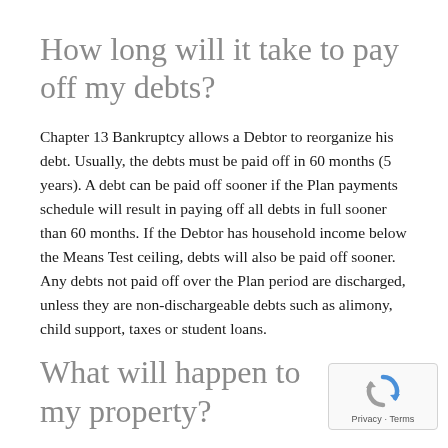How long will it take to pay off my debts?
Chapter 13 Bankruptcy allows a Debtor to reorganize his debt. Usually, the debts must be paid off in 60 months (5 years). A debt can be paid off sooner if the Plan payments schedule will result in paying off all debts in full sooner than 60 months. If the Debtor has household income below the Means Test ceiling, debts will also be paid off sooner. Any debts not paid off over the Plan period are discharged, unless they are non-dischargeable debts such as alimony, child support, taxes or student loans.
What will happen to my property?